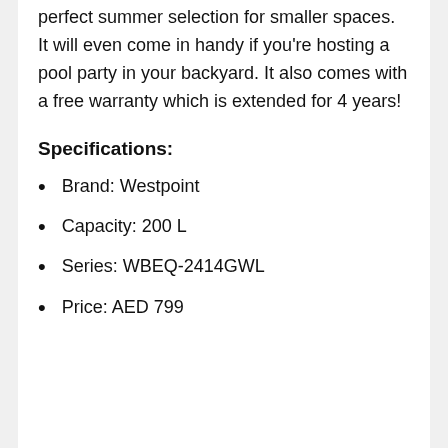perfect summer selection for smaller spaces. It will even come in handy if you're hosting a pool party in your backyard. It also comes with a free warranty which is extended for 4 years!
Specifications:
Brand: Westpoint
Capacity: 200 L
Series: WBEQ-2414GWL
Price: AED 799